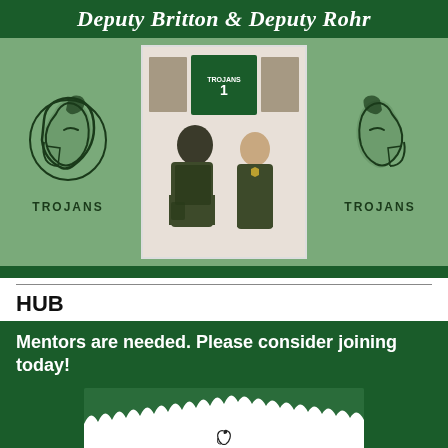Deputy Britton & Deputy Rohr
[Figure (photo): Two deputies in green uniforms standing in front of a framed TROJANS football jersey and honor boards. Left and right of photo are Trojans Spartan helmet logos with text TROJANS below.]
HUB
Mentors are needed. Please consider joining today!
[Figure (photo): Partial view of a Paxon High School flyer with green and white design and Spartan helmet logo.]